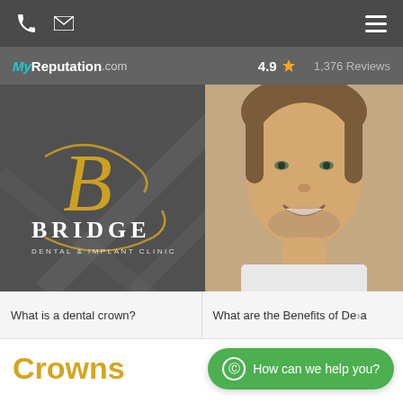Navigation bar with phone, email, and menu icons
[Figure (screenshot): MyReputation.com logo with rating 4.9 star and 1,376 Reviews]
[Figure (logo): Bridge Dental & Implant Clinic hero banner with ornate B logo and smiling man photo]
What is a dental crown?
What are the Benefits of De...
Crowns
How can we help you?
Available on Monday